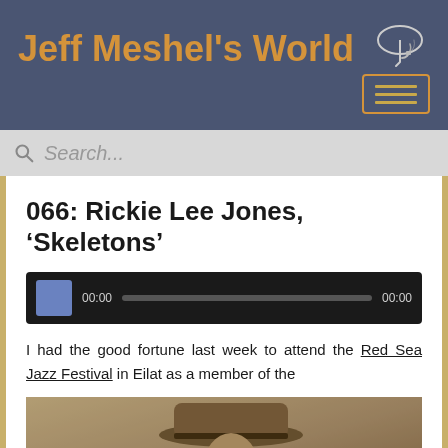Jeff Meshel's World
Search...
066: Rickie Lee Jones, ‘Skeletons’
[Figure (screenshot): Audio player widget showing 00:00 start time, progress bar, and 00:00 end time on dark background]
I had the good fortune last week to attend the Red Sea Jazz Festival in Eilat as a member of the
[Figure (photo): Sepia-toned vintage photograph of a person wearing a wide-brimmed hat]